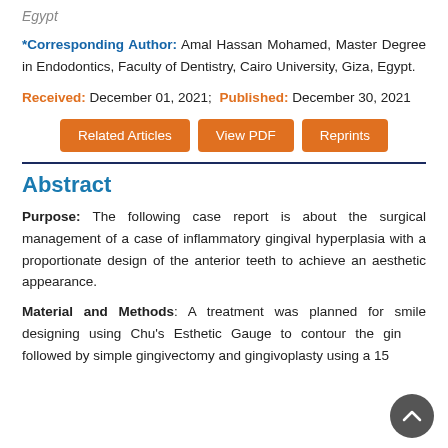Egypt
*Corresponding Author: Amal Hassan Mohamed, Master Degree in Endodontics, Faculty of Dentistry, Cairo University, Giza, Egypt.
Received: December 01, 2021; Published: December 30, 2021
[Figure (other): Three orange buttons labeled: Related Articles, View PDF, Reprints]
Abstract
Purpose: The following case report is about the surgical management of a case of inflammatory gingival hyperplasia with a proportionate design of the anterior teeth to achieve an aesthetic appearance.
Material and Methods: A treatment was planned for smile designing using Chu's Esthetic Gauge to contour the gingiva followed by simple gingivectomy and gingivoplasty using a 15